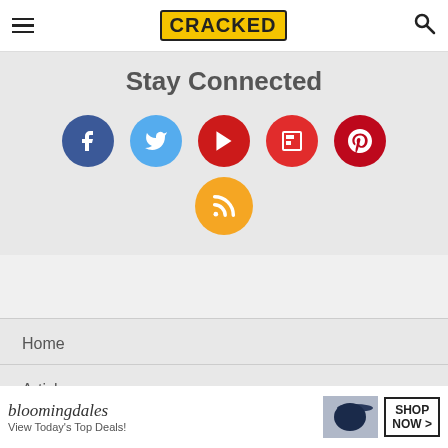CRACKED
Stay Connected
[Figure (infographic): Six social media icons in circles: Facebook (dark blue), Twitter (light blue), YouTube (red), Flipboard (red), Pinterest (dark red), and RSS (orange)]
Home
Articles
Photoplasty
[Figure (infographic): Bloomingdale's advertisement: 'bloomingdales View Today's Top Deals!' with a woman in a hat and SHOP NOW > button]